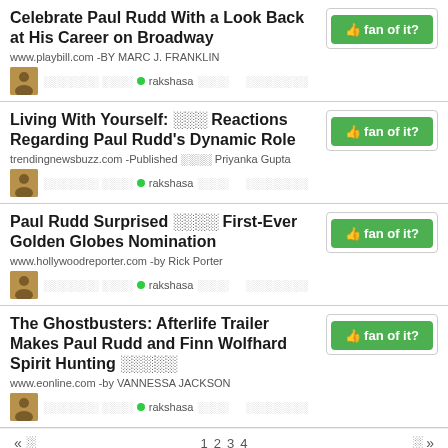Celebrate Paul Rudd With a Look Back at His Career on Broadway
www.playbill.com -BY MARC J. FRANKLIN
rakshasa
Living With Yourself: 〓〓〓 Reactions Regarding Paul Rudd's Dynamic Role
trendingnewsbuzz.com -Published 〓〓〓〓 Priyanka Gupta
rakshasa
Paul Rudd Surprised 〓〓〓〓 First-Ever Golden Globes Nomination
www.hollywoodreporter.com -by Rick Porter
rakshasa
The Ghostbusters: Afterlife Trailer Makes Paul Rudd and Finn Wolfhard Spirit Hunting 〓〓〓〓〓
www.eonline.com -by VANNESSA JACKSON
rakshasa
« 〓   1 2 3 4   〓 »